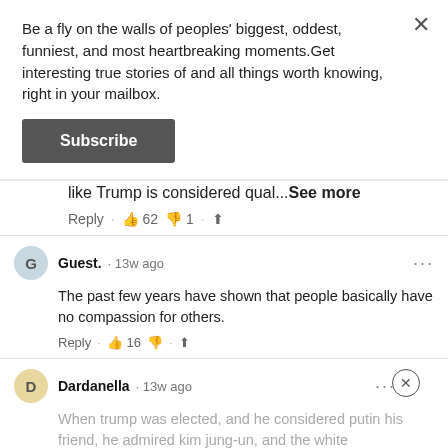Be a fly on the walls of peoples' biggest, oddest, funniest, and most heartbreaking moments.Get interesting true stories of and all things worth knowing, right in your mailbox.
Subscribe
swath of American society is so sad. That someone like Trump is considered qual...See more
Reply · 👍 62 👎 1 · ⬆
Guest. · 13w ago
The past few years have shown that people basically have no compassion for others.
Reply · 👍 16 👎 · ⬆
Dardanella · 13w ago
When trump was elected, and he considered putin his friend, he admired kim jung-un, and the white